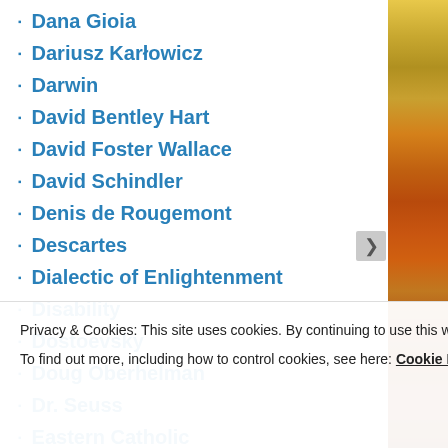Dana Gioia
Dariusz Karłowicz
Darwin
David Bentley Hart
David Foster Wallace
David Schindler
Denis de Rougemont
Descartes
Dialectic of Enlightenment
Disability
Dostoevsky
Doug Oberhelman
Dr. Seuss
Eastern Catholic
Privacy & Cookies: This site uses cookies. By continuing to use this website, you agree to their use.
To find out more, including how to control cookies, see here: Cookie Policy